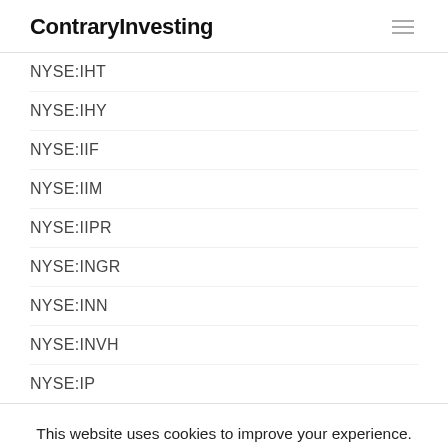ContraryInvesting
NYSE:IHT
NYSE:IHY
NYSE:IIF
NYSE:IIM
NYSE:IIPR
NYSE:INGR
NYSE:INN
NYSE:INVH
NYSE:IP
This website uses cookies to improve your experience. We'll assume you're ok with this, but you can opt-out if you wish. Cookie settings ACCEPT